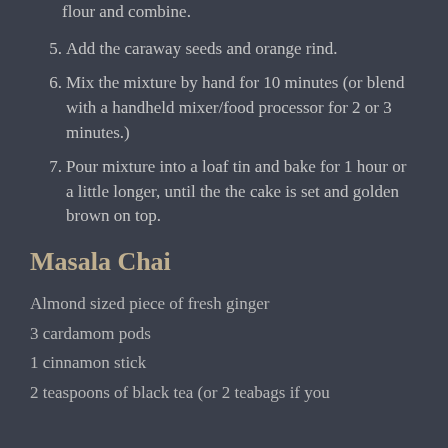flour and combine.
5. Add the caraway seeds and orange rind.
6. Mix the mixture by hand for 10 minutes (or blend with a handheld mixer/food processor for 2 or 3 minutes.)
7. Pour mixture into a loaf tin and bake for 1 hour or a little longer, until the the cake is set and golden brown on top.
Masala Chai
Almond sized piece of fresh ginger
3 cardamom pods
1 cinnamon stick
2 teaspoons of black tea (or 2 teabags if you